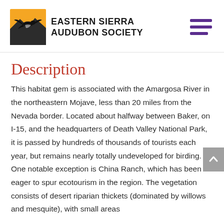Eastern Sierra Audubon Society
Description
This habitat gem is associated with the Amargosa River in the northeastern Mojave, less than 20 miles from the Nevada border. Located about halfway between Baker, on I-15, and the headquarters of Death Valley National Park, it is passed by hundreds of thousands of tourists each year, but remains nearly totally undeveloped for birding. One notable exception is China Ranch, which has been eager to spur ecotourism in the region. The vegetation consists of desert riparian thickets (dominated by willows and mesquite), with small areas